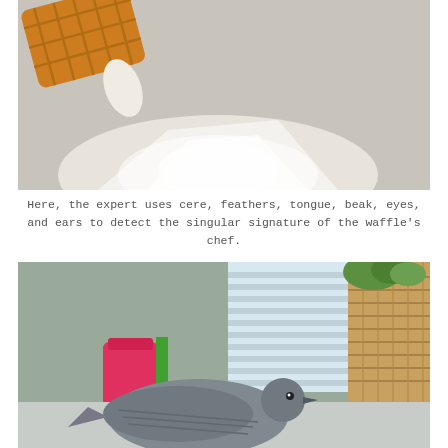[Figure (photo): Close-up photo of a waffle or fried food item being held near a white/grey surface, with bright light reflection on the table surface below. A bird's cere/beak area is visible at the bottom of the frame examining the food.]
Here, the expert uses cere, feathers, tongue, beak, eyes, and ears to detect the singular signature of the waffle's chef.
[Figure (photo): Photo of a grey bird (appears to be a dove or pigeon) on a surface, with a wicker basket filled with green plants in the background, a bright window with blinds, and colorful objects (pink/orange/green) visible to the left side.]